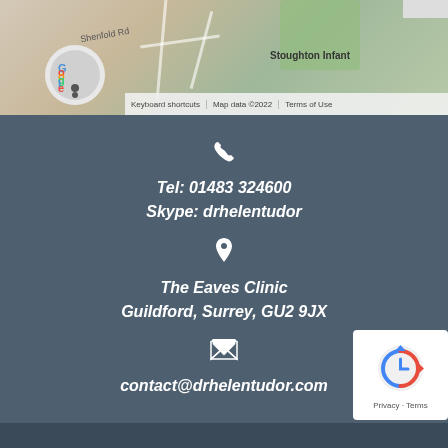[Figure (map): Google Maps screenshot showing area near Stoughton Infant school and Shenfold Rd, with Google logo, keyboard shortcuts, map data copyright 2022, and Terms of Use labels.]
Tel: 01483 324600
Skype: drhelentudor
The Eaves Clinic
Guildford, Surrey, GU2 9JX
contact@drhelentudor.com